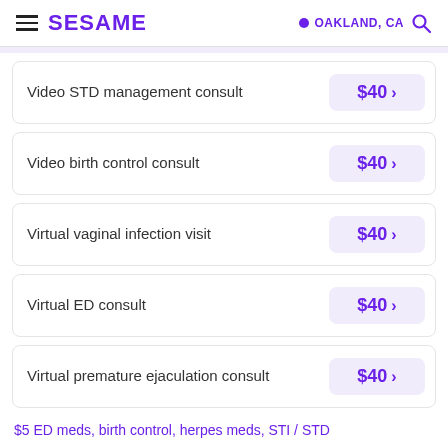SESAME — OAKLAND, CA
Video STD management consult — $40
Video birth control consult — $40
Virtual vaginal infection visit — $40
Virtual ED consult — $40
Virtual premature ejaculation consult — $40
$5 ED meds, birth control, herpes meds, STI / STD